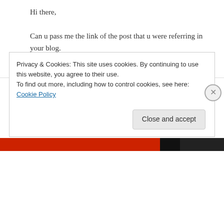Hi there,

Can u pass me the link of the post that u were referring in your blog.
↳ Reply
Deepak on October 31, 2010 at 12:13 pm
Hi there,

will u ' PLEASE 'pass me the link of the post that
Privacy & Cookies: This site uses cookies. By continuing to use this website, you agree to their use.
To find out more, including how to control cookies, see here: Cookie Policy
Close and accept